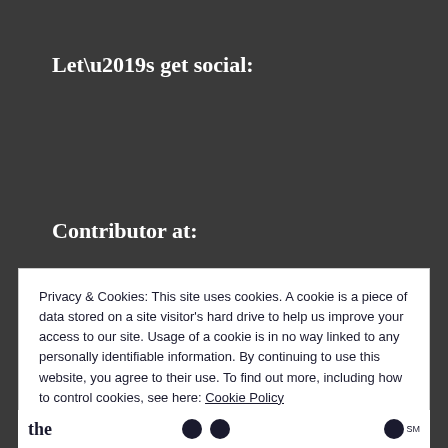Let’s get social:
Contributor at:
Privacy & Cookies: This site uses cookies. A cookie is a piece of data stored on a site visitor's hard drive to help us improve your access to our site. Usage of a cookie is in no way linked to any personally identifiable information. By continuing to use this website, you agree to their use. To find out more, including how to control cookies, see here: Cookie Policy
Close and accept